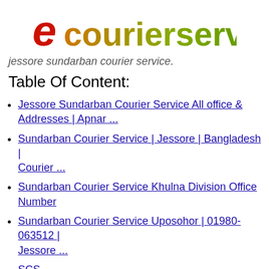[Figure (logo): ecourierservicebd logo with stylized red italic 'e' and gradient green/yellow 'courierservicebd' text]
jessore sundarban courier service.
Table Of Content:
Jessore Sundarban Courier Service All office & Addresses | Apnar ...
Sundarban Courier Service | Jessore | Bangladesh | Courier ...
Sundarban Courier Service Khulna Division Office Number
Sundarban Courier Service Uposohor | 01980-063512 | Jessore ...
SCS